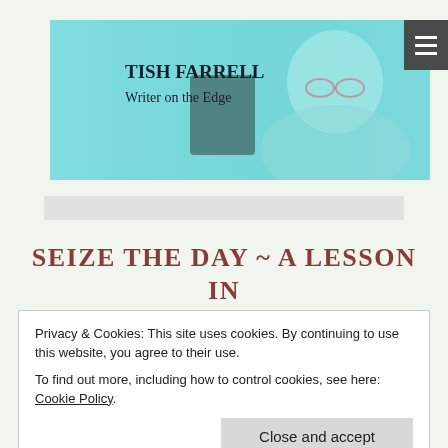[Figure (photo): Header banner with teal-tinted photo of a woman with short grey hair and glasses, with blog title text overlay reading 'TISH FARRELL Writer on the Edge']
TISH FARRELL
Writer on the Edge
SEIZE THE DAY ~ A LESSON IN FLOWERS
Privacy & Cookies: This site uses cookies. By continuing to use this website, you agree to their use.
To find out more, including how to control cookies, see here: Cookie Policy
Close and accept